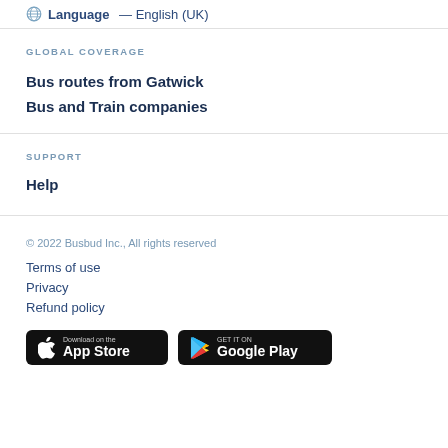Language — English (UK)
GLOBAL COVERAGE
Bus routes from Gatwick
Bus and Train companies
SUPPORT
Help
© 2022 Busbud Inc., All rights reserved
Terms of use
Privacy
Refund policy
[Figure (other): Download on the App Store and Get it on Google Play store buttons]